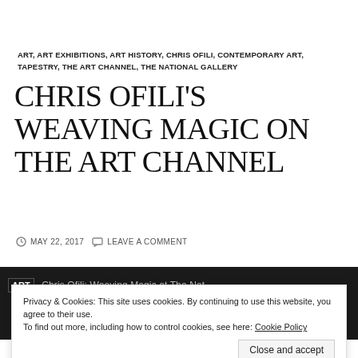ART, ART EXHIBITIONS, ART HISTORY, CHRIS OFILI, CONTEMPORARY ART, TAPESTRY, THE ART CHANNEL, THE NATIONAL GALLERY
CHRIS OFILI'S WEAVING MAGIC ON THE ART CHANNEL
MAY 22, 2017  LEAVE A COMMENT
[Figure (screenshot): Dark background screenshot showing ART logo and text: Chris Ofili: Weaving Magic at The Nat...]
Privacy & Cookies: This site uses cookies. By continuing to use this website, you agree to their use. To find out more, including how to control cookies, see here: Cookie Policy
Close and accept